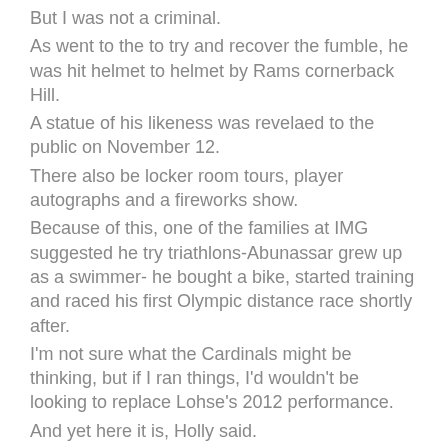But I was not a criminal.
As went to the to try and recover the fumble, he was hit helmet to helmet by Rams cornerback Hill.
A statue of his likeness was revelaed to the public on November 12.
There also be locker room tours, player autographs and a fireworks show.
Because of this, one of the families at IMG suggested he try triathlons-Abunassar grew up as a swimmer- he bought a bike, started training and raced his first Olympic distance race shortly after.
I'm not sure what the Cardinals might be thinking, but if I ran things, I'd wouldn't be looking to replace Lohse's 2012 performance.
And yet here it is, Holly said.
He took some snaps there.
was everyone's favorite player, he said wistfully, but I loved the way was playing.
Messick Messick was half of a powerful tandem on the